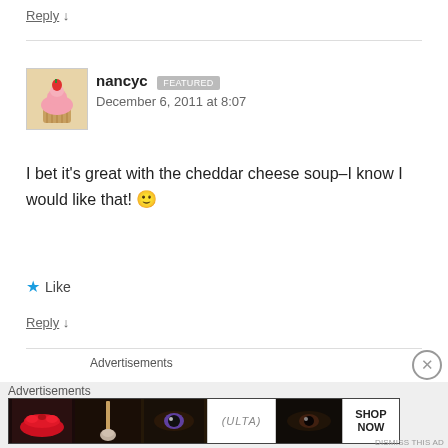Reply ↓
nancyc [FEATURED] December 6, 2011 at 8:07
[Figure (photo): Avatar image of a cupcake with pink frosting and a strawberry]
I bet it's great with the cheddar cheese soup–I know I would like that! 🙂
★ Like
Reply ↓
Advertisements
Advertisements
[Figure (screenshot): ULTA beauty advertisement banner showing makeup product images and SHOP NOW call to action]